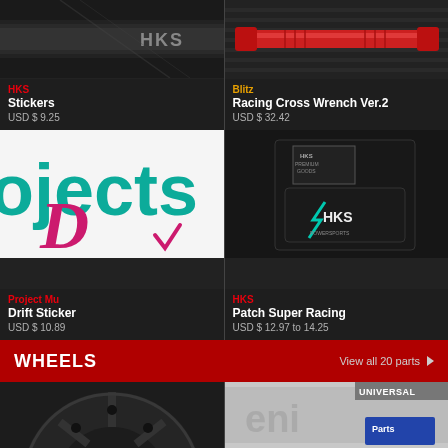[Figure (photo): HKS stickers product photo on dark background]
HKS
Stickers
USD $ 9.25
[Figure (photo): Blitz Racing Cross Wrench Ver.2 red product photo]
Blitz
Racing Cross Wrench Ver.2
USD $ 32.42
[Figure (photo): Project Mu Drift Sticker with teal and pink logo]
Project Mu
Drift Sticker
USD $ 10.89
[Figure (photo): HKS Patch Super Racing on black fabric packaging]
HKS
Patch Super Racing
USD $ 12.97 to 14.25
WHEELS
View all 20 parts ▶
[Figure (photo): Dark alloy wheel close-up]
[Figure (photo): Universal wheel spacer with blue sticker label, UNIVERSAL tag]